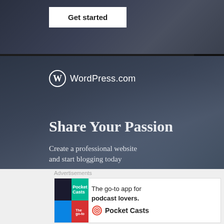[Figure (screenshot): WordPress.com advertisement banner showing 'Get started' button at top, blurred background of person writing]
[Figure (screenshot): WordPress.com advertisement with logo, 'Share Your Passion' headline, 'Create a professional website and start blogging today' text, and 'Get started' button]
Share this:
Advertisements
[Figure (screenshot): Pocket Casts advertisement banner: 'The go-to app for podcast lovers.' with Pocket Casts logo]